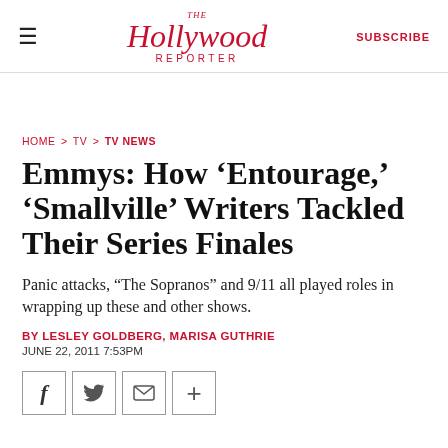THE Hollywood REPORTER  SUBSCRIBE
HOME > TV > TV NEWS
Emmys: How 'Entourage,' 'Smallville' Writers Tackled Their Series Finales
Panic attacks, "The Sopranos" and 9/11 all played roles in wrapping up these and other shows.
BY LESLEY GOLDBERG, MARISA GUTHRIE
JUNE 22, 2011 7:53PM